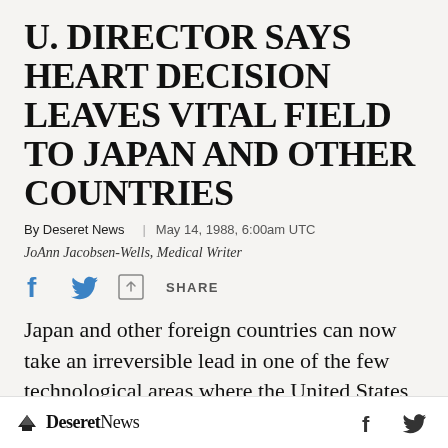U. DIRECTOR SAYS HEART DECISION LEAVES VITAL FIELD TO JAPAN AND OTHER COUNTRIES
By Deseret News | May 14, 1988, 6:00am UTC
JoAnn Jacobsen-Wells, Medical Writer
[Figure (other): Social share icons: Facebook, Twitter, and generic share icon with SHARE label]
Japan and other foreign countries can now take an irreversible lead in one of the few technological areas where the United States
Deseret News  [Facebook icon] [Twitter icon]